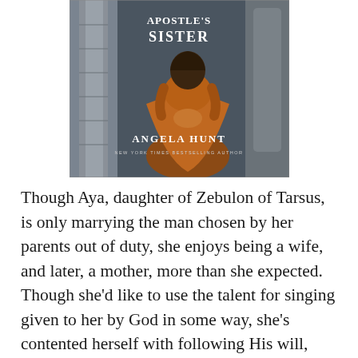[Figure (illustration): Book cover of 'The Apostle's Sister' by Angela Hunt, New York Times Bestselling Author. Shows a woman in an orange/amber dress viewed from behind, standing near a stone column.]
Though Aya, daughter of Zebulon of Tarsus, is only marrying the man chosen by her parents out of duty, she enjoys being a wife, and later, a mother, more than she expected. Though she'd like to use the talent for singing given to her by God in some way, she's contented herself with following His will, however he chooses to use her. But when her brother, a Pharisee and member of the powerful Sanhedrin, surprises everyone by converting to following the Nazarene who was